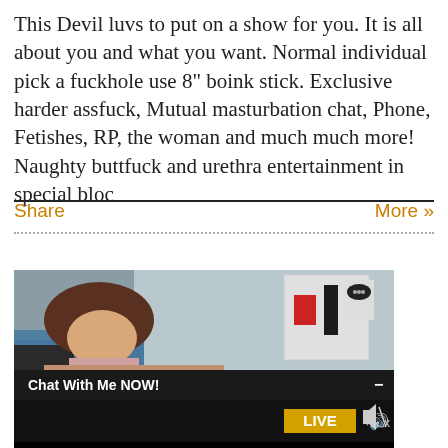This Devil luvs to put on a show for you. It is all about you and what you want. Normal individual pick a fuckhole use 8" boink stick. Exclusive harder assfuck, Mutual masturbation chat, Phone, Fetishes, RP, the woman and much much more! Naughty buttfuck and urethra entertainment in special bloc
Share   More »
[Figure (screenshot): A live webcam video player showing a woman with brown hair in a room with a couch and shelf in the background. A dark overlay bar reads 'Chat With Me NOW!' with a minimize button. Below is a controls bar with a yellow 'LIVE' badge and a volume/mute icon.]